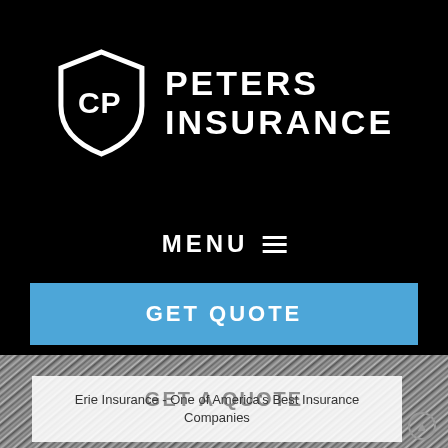[Figure (logo): CP Peters Insurance logo — a white shield with CP letters and the text PETERS INSURANCE in white bold uppercase on black background]
MENU ≡
GET QUOTE
[Figure (photo): Diagonal brushed metallic texture background in grey tones]
GET A QUOTE
Erie Insurance - One of America's Best Insurance Companies